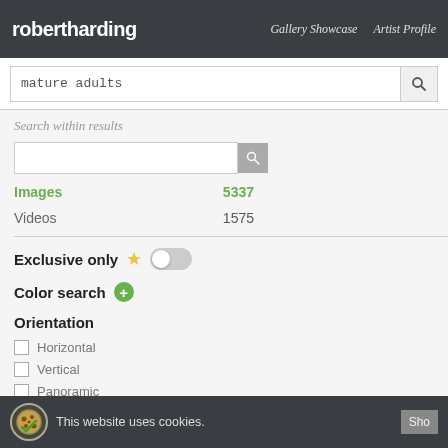robertharding   Gallery Showcase   Artist Profile
mature adults
Search within results
Images   5337
Videos   1575
Exclusive only
Color search
Orientation
Horizontal
Vertical
Panoramic
[Figure (photo): Close-up of a cowboy spur on a boot with blue denim]
[Figure (photo): Chefs in white uniforms cooking with flames in a kitchen]
[Figure (photo): Partial view of a forest/nature scene]
This website uses cookies.